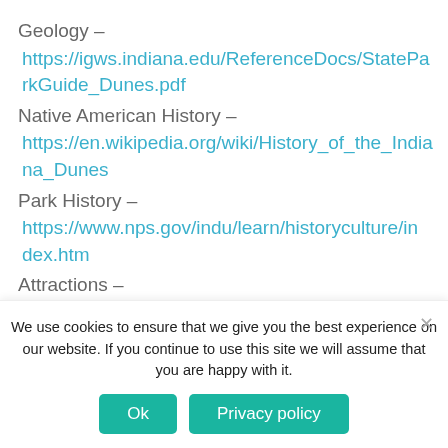Geology – https://igws.indiana.edu/ReferenceDocs/StateParkGuide_Dunes.pdf
Native American History – https://en.wikipedia.org/wiki/History_of_the_Indiana_Dunes
Park History – https://www.nps.gov/indu/learn/historyculture/index.htm
Attractions –
We use cookies to ensure that we give you the best experience on our website. If you continue to use this site we will assume that you are happy with it.